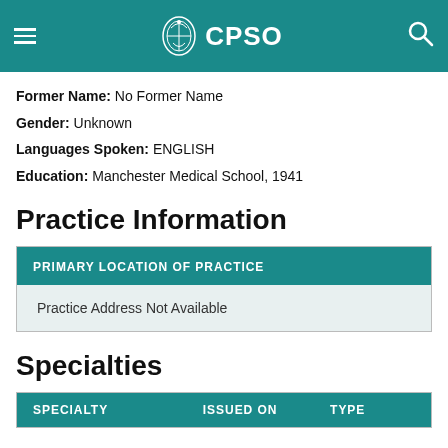CPSO
Former Name: No Former Name
Gender: Unknown
Languages Spoken: ENGLISH
Education: Manchester Medical School, 1941
Practice Information
| PRIMARY LOCATION OF PRACTICE |
| --- |
| Practice Address Not Available |
Specialties
| SPECIALTY | ISSUED ON | TYPE |
| --- | --- | --- |